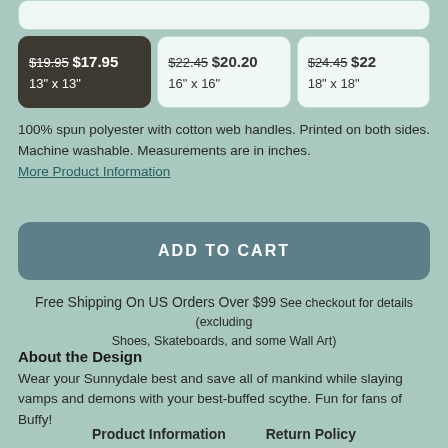| Size Option 1 | Size Option 2 | Size Option 3 |
| --- | --- | --- |
| $19.95 $17.95
13" x 13" | $22.45 $20.20
16" x 16" | $24.45 $22
18" x 18" |
100% spun polyester with cotton web handles. Printed on both sides. Machine washable. Measurements are in inches.
More Product Information
ADD TO CART
Free Shipping On US Orders Over $99 See checkout for details (excluding Shoes, Skateboards, and some Wall Art)
About the Design
Wear your Sunnydale best and save all of mankind while slaying vamps and demons with your best-buffed scythe. Fun for fans of Buffy!
Product Information   Return Policy